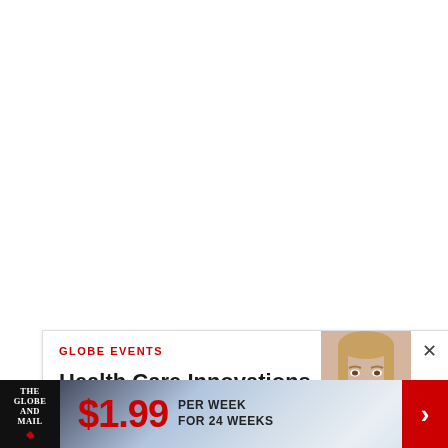GLOBE EVENTS
Health Care Innovations -
[Figure (photo): Portrait photo of a woman with blonde hair, partially obscured by a close button overlay]
$1.99 PER WEEK FOR 24 WEEKS
[Figure (logo): The Globe and Mail logo with red maple leaf on black background]